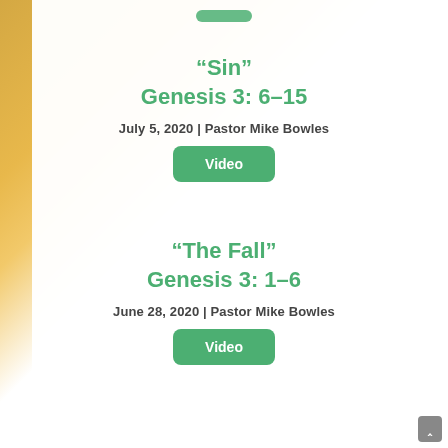“Sin” Genesis 3: 6-15
July 5, 2020|Pastor Mike Bowles
[Figure (other): Green rounded button labeled 'Video']
“The Fall” Genesis 3: 1-6
June 28, 2020|Pastor Mike Bowles
[Figure (other): Green rounded button labeled 'Video']
[Figure (other): Gray back-to-top button with caret symbol]